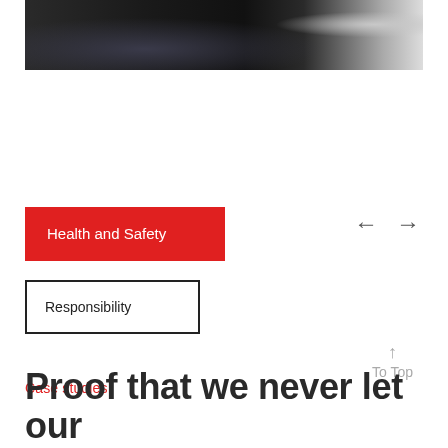[Figure (photo): Dark photograph showing a person or scene at night, barely visible, with a light/blur on the right side]
Health and Safety
Responsibility
← →
↑ To Top
Case studies
Proof that we never let our